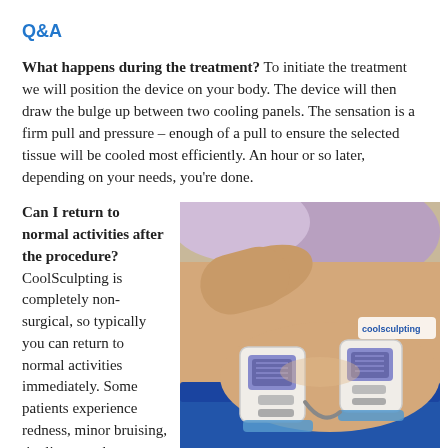Q&A
What happens during the treatment? To initiate the treatment we will position the device on your body. The device will then draw the bulge up between two cooling panels. The sensation is a firm pull and pressure – enough of a pull to ensure the selected tissue will be cooled most efficiently. An hour or so later, depending on your needs, you're done.
Can I return to normal activities after the procedure? CoolSculpting is completely non-surgical, so typically you can return to normal activities immediately. Some patients experience redness, minor bruising, tingling, numbness or discomfort in the treated area, but this is temporary and will
[Figure (photo): A patient undergoing CoolSculpting treatment with two cooling devices applied to the abdomen area. The devices have small screens and the CoolSculpting brand logo is visible.]